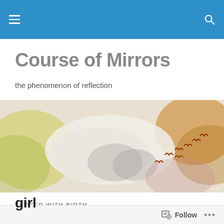Navigation bar with hamburger menu and search icon
Course of Mirrors
the phenomenon of reflection
[Figure (illustration): Wide watercolor-style banner image showing birds in flight over an abstract cloudy landscape with yellow, white, grey and amber tones]
TAGGED WITH BIRTH
girl
Follow ...